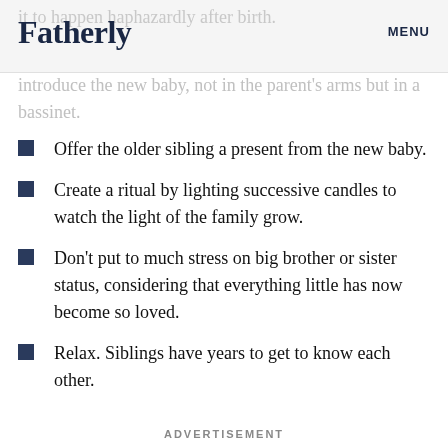Fatherly   MENU
it to happen haphazardly after birth. introduce the new baby, not in the parent's arms but in a bassinet.
Offer the older sibling a present from the new baby.
Create a ritual by lighting successive candles to watch the light of the family grow.
Don't put to much stress on big brother or sister status, considering that everything little has now become so loved.
Relax. Siblings have years to get to know each other.
ADVERTISEMENT